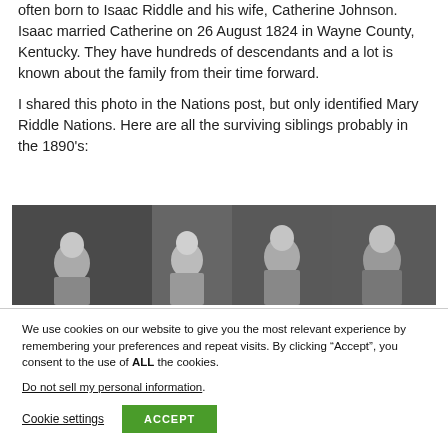often born to Isaac Riddle and his wife, Catherine Johnson. Isaac married Catherine on 26 August 1824 in Wayne County, Kentucky. They have hundreds of descendants and a lot is known about the family from their time forward.
I shared this photo in the Nations post, but only identified Mary Riddle Nations. Here are all the surviving siblings probably in the 1890's:
[Figure (photo): A wide grayscale group photograph showing several people, likely the surviving Riddle siblings, circa 1890s.]
We use cookies on our website to give you the most relevant experience by remembering your preferences and repeat visits. By clicking “Accept”, you consent to the use of ALL the cookies.
Do not sell my personal information.
Cookie settings   ACCEPT